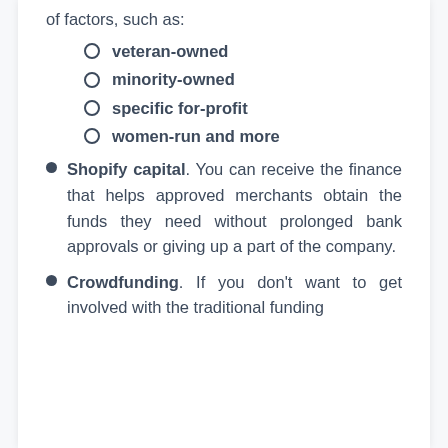of factors, such as:
veteran-owned
minority-owned
specific for-profit
women-run and more
Shopify capital. You can receive the finance that helps approved merchants obtain the funds they need without prolonged bank approvals or giving up a part of the company.
Crowdfunding. If you don't want to get involved with the traditional funding